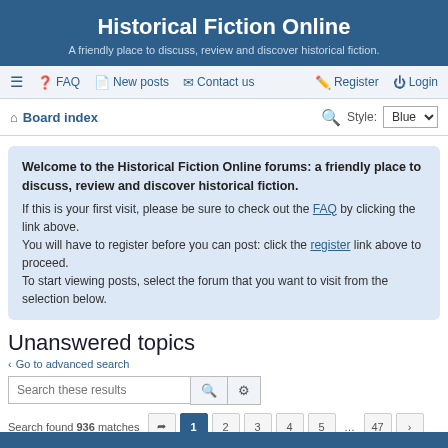Historical Fiction Online
A friendly place to discuss, review and discover historical fiction.
≡  FAQ  New posts  Contact us    Register  Login
Board index  Style: Blue
Welcome to the Historical Fiction Online forums: a friendly place to discuss, review and discover historical fiction. If this is your first visit, please be sure to check out the FAQ by clicking the link above. You will have to register before you can post: click the register link above to proceed. To start viewing posts, select the forum that you want to visit from the selection below.
Unanswered topics
< Go to advanced search
Search these results
Search found 936 matches  1  2  3  4  5  ...  47  >